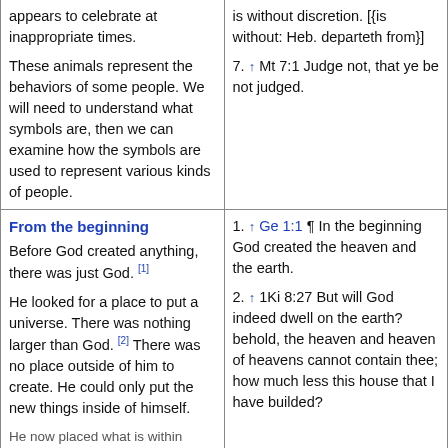appears to celebrate at inappropriate times.
These animals represent the behaviors of some people. We will need to understand what symbols are, then we can examine how the symbols are used to represent various kinds of people.
is without discretion. [{is without: Heb. departeth from}]
7. ↑ Mt 7:1 Judge not, that ye be not judged.
From the beginning
Before God created anything, there was just God. [1]
He looked for a place to put a universe. There was nothing larger than God. [2] There was no place outside of him to create. He could only put the new things inside of himself.
1. ↑ Ge 1:1 ¶ In the beginning God created the heaven and the earth.
2. ↑ 1Ki 8:27 But will God indeed dwell on the earth? behold, the heaven and heaven of heavens cannot contain thee; how much less this house that I have builded?